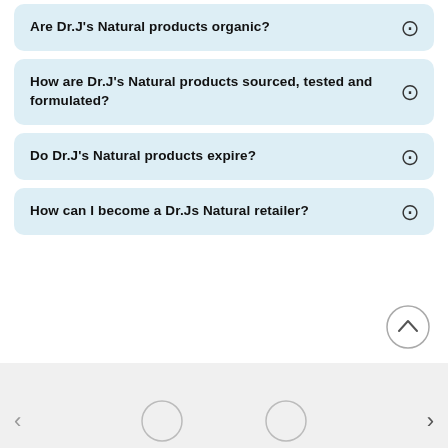Are Dr.J's Natural products organic?
How are Dr.J's Natural products sourced, tested and formulated?
Do Dr.J's Natural products expire?
How can I become a Dr.Js Natural retailer?
[Figure (other): Scroll-to-top button circle with upward chevron arrow]
[Figure (other): Carousel navigation section with left arrow, two partial circle indicators, and right arrow]